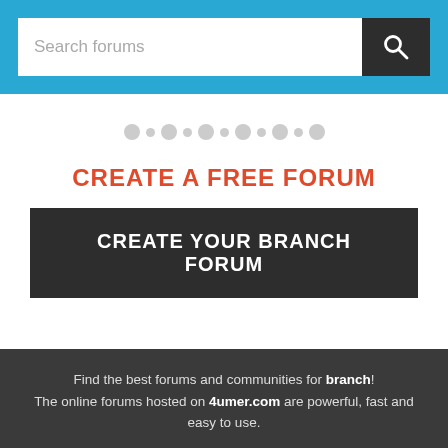[Figure (screenshot): Search bar with 'Search forums' placeholder text and a dark search button with magnifying glass icon on a blue background header]
[Figure (infographic): A row of alternating large and small grey dots used as a pagination/slider indicator]
CREATE A FREE FORUM
CREATE YOUR BRANCH FORUM
Find the best forums and communities for branch! The online forums hosted on 4umer.com are powerful, fast and easy to use.